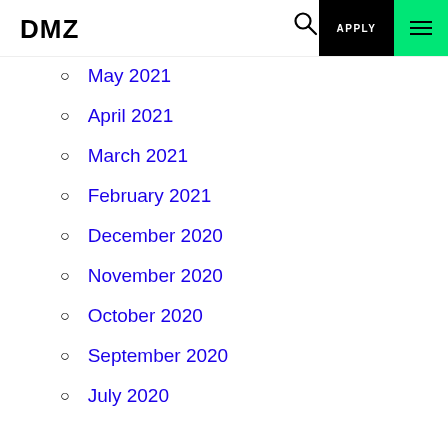DMZ | APPLY
May 2021
April 2021
March 2021
February 2021
December 2020
November 2020
October 2020
September 2020
July 2020